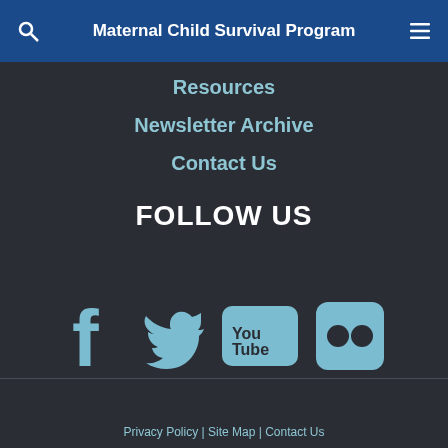Maternal Child Survival Program
Resources
Newsletter Archive
Contact Us
FOLLOW US
[Figure (logo): Social media icons: Facebook, Twitter, YouTube, Flickr]
Privacy Policy | Site Map | Contact Us